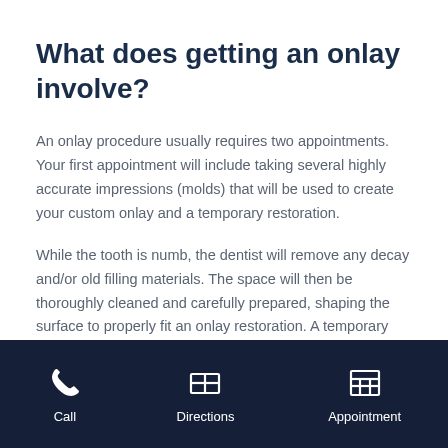What does getting an onlay involve?
An onlay procedure usually requires two appointments. Your first appointment will include taking several highly accurate impressions (molds) that will be used to create your custom onlay and a temporary restoration.
While the tooth is numb, the dentist will remove any decay and/or old filling materials. The space will then be thoroughly cleaned and carefully prepared, shaping the surface to properly fit an onlay restoration. A temporary filling will be applied to protect the tooth while your onlay is made by a dental laboratory.
Call   Directions   Appointment